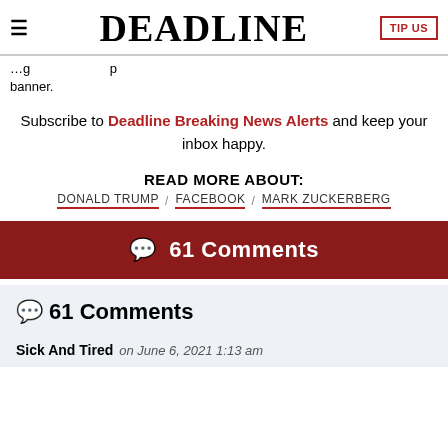DEADLINE
banner.
Subscribe to Deadline Breaking News Alerts and keep your inbox happy.
READ MORE ABOUT:
DONALD TRUMP / FACEBOOK / MARK ZUCKERBERG
💬 61 Comments
💬 61 Comments
Sick And Tired on June 6, 2021 1:13 am